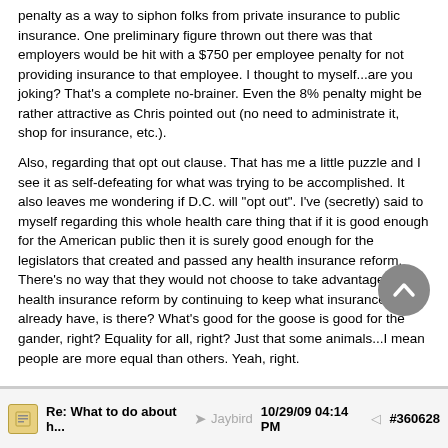penalty as a way to siphon folks from private insurance to public insurance. One preliminary figure thrown out there was that employers would be hit with a $750 per employee penalty for not providing insurance to that employee. I thought to myself...are you joking? That's a complete no-brainer. Even the 8% penalty might be rather attractive as Chris pointed out (no need to administrate it, shop for insurance, etc.).

Also, regarding that opt out clause. That has me a little puzzle and I see it as self-defeating for what was trying to be accomplished. It also leaves me wondering if D.C. will "opt out". I've (secretly) said to myself regarding this whole health care thing that if it is good enough for the American public then it is surely good enough for the legislators that created and passed any health insurance reform. There's no way that they would not choose to take advantage of this health insurance reform by continuing to keep what insurance they already have, is there? What's good for the goose is good for the gander, right? Equality for all, right? Just that some animals...I mean people are more equal than others. Yeah, right.
Re: What to do about h... Jaybird 10/29/09 04:14 PM #360628